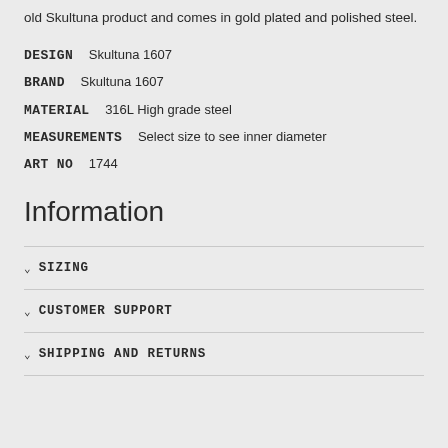old Skultuna product and comes in gold plated and polished steel.
DESIGN  Skultuna 1607
BRAND  Skultuna 1607
MATERIAL  316L High grade steel
MEASUREMENTS  Select size to see inner diameter
ART NO  1744
Information
SIZING
CUSTOMER SUPPORT
SHIPPING AND RETURNS